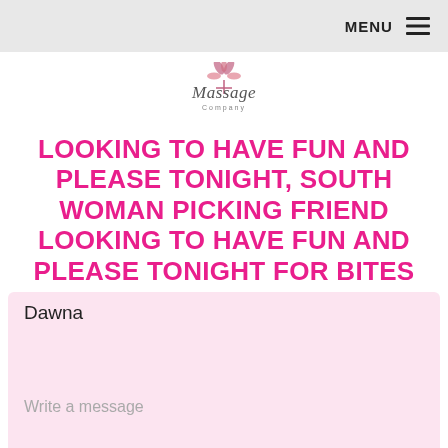MENU
[Figure (logo): Massage Company logo with stylized flower/leaf icon above the text]
LOOKING TO HAVE FUN AND PLEASE TONIGHT, SOUTH WOMAN PICKING FRIEND LOOKING TO HAVE FUN AND PLEASE TONIGHT FOR BITES
Dawna
Write a message